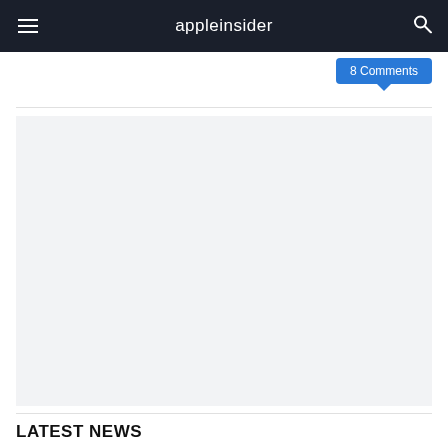appleinsider
8 Comments
[Figure (other): Large placeholder/advertisement block with light gray background]
LATEST NEWS